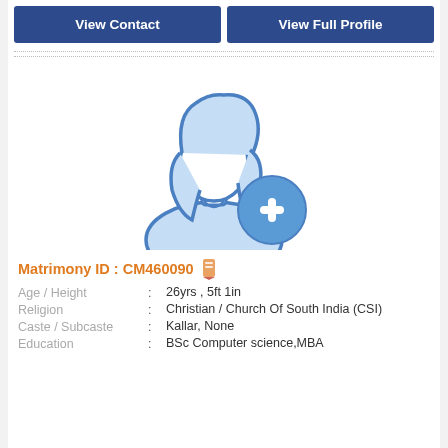View Contact
View Full Profile
[Figure (illustration): Female user avatar placeholder icon with a blue circular plus button overlay, in light blue line art style]
Matrimony ID : CM460090
| Age / Height | : | 26yrs , 5ft 1in |
| Religion | : | Christian / Church Of South India (CSI) |
| Caste / Subcaste | : | Kallar, None |
| Education | : | BSc Computer science,MBA |